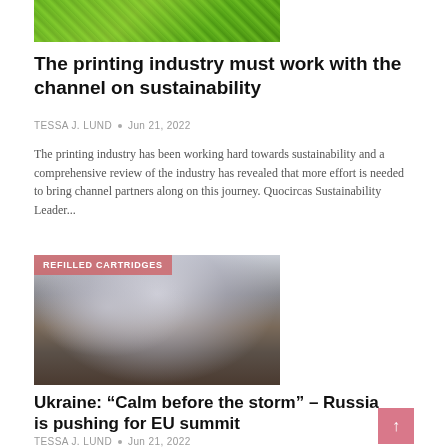[Figure (photo): Green leaf texture image, partially cropped at top of page]
The printing industry must work with the channel on sustainability
TESSA J. LUND • Jun 21, 2022
The printing industry has been working hard towards sustainability and a comprehensive review of the industry has revealed that more effort is needed to bring channel partners along on this journey. Quocircas Sustainability Leader...
[Figure (photo): News photo showing people from behind watching smoke and fire in the distance, with a badge reading REFILLED CARTRIDGES]
Ukraine: “Calm before the storm” – Russia is pushing for EU summit
TESSA J. LUND • Jun 21, 2022